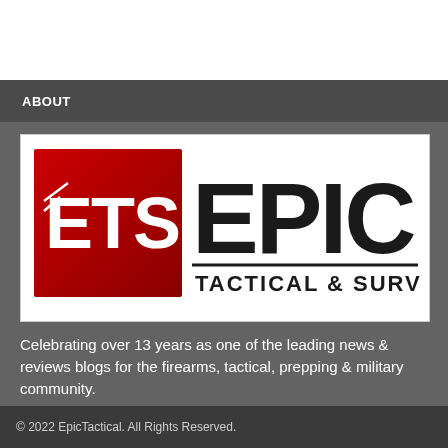ABOUT
[Figure (logo): ETS Epic Tactical & Survival logo — red square with 'ETS' in white on left, 'EPIC' in large black bold text on right, 'TACTICAL & SURVIVAL' in black below EPIC with a horizontal rule]
Celebrating over 13 years as one of the leading news & reviews blogs for the firearms, tactical, prepping & military community.
© 2022 EpicTactical. All Rights Reserved.